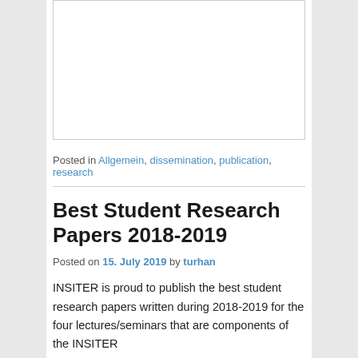[Figure (other): White rectangular image placeholder area with border]
Posted in Allgemein, dissemination, publication, research
Best Student Research Papers 2018-2019
Posted on 15. July 2019 by turhan
INSITER is proud to publish the best student research papers written during 2018-2019 for the four lectures/seminars that are components of the INSITER